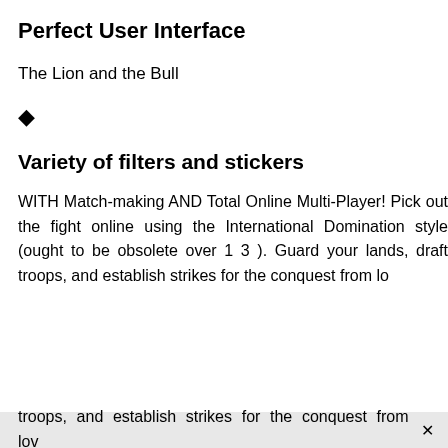Perfect User Interface
The Lion and the Bull
◆
Variety of filters and stickers
WITH Match-making AND Total Online Multi-Player! Pick out the fight online using the International Domination style (ought to be obsolete over 1 3 ). Guard your lands, draft troops, and establish strikes for the conquest from lov